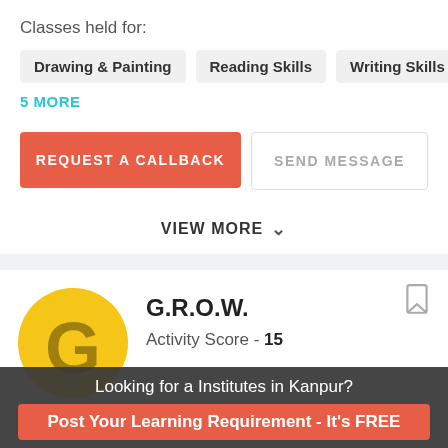Classes held for:
Drawing & Painting
Reading Skills
Writing Skills
5 MORE
REQUEST A CALLBACK
SEND MESSAGE
VIEW MORE
G.R.O.W.
Activity Score - 15
Looking for a Institutes in Kanpur?
Post Your Learning Requirement - It's FREE